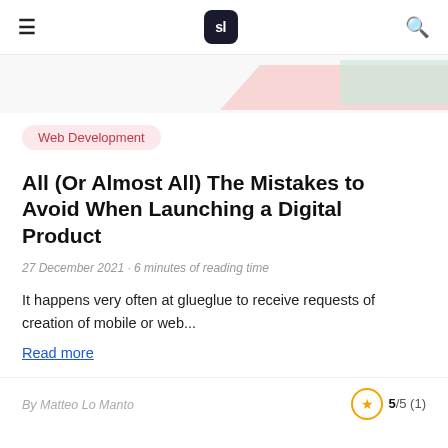sl
[Figure (illustration): Decorative geometric shapes in pink and mint/green on a light background]
Web Development
All (Or Almost All) The Mistakes to Avoid When Launching a Digital Product
27 December 2021 · 6 minutes of reading time
It happens very often at glueglue to receive requests of creation of mobile or web...
Read more
By Matteo Lo Manto
5/5 (1)